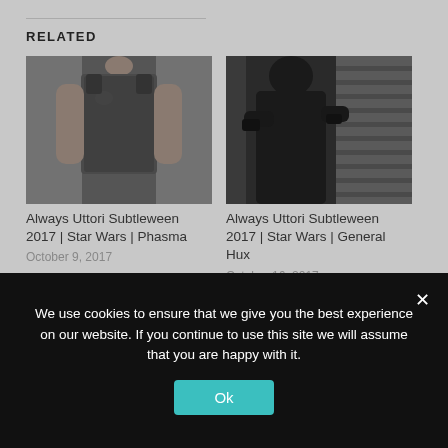RELATED
[Figure (photo): Person wearing a dark knit tank top with a tattoo visible on their chest/shoulder]
Always Uttori Subtleween 2017 | Star Wars | Phasma
October 9, 2017
[Figure (photo): Person in a dark outfit standing near window blinds]
Always Uttori Subtleween 2017 | Star Wars | General Hux
October 16, 2017
[Figure (photo): Person in dark pants, partially visible, cropped at waist]
We use cookies to ensure that we give you the best experience on our website. If you continue to use this site we will assume that you are happy with it.